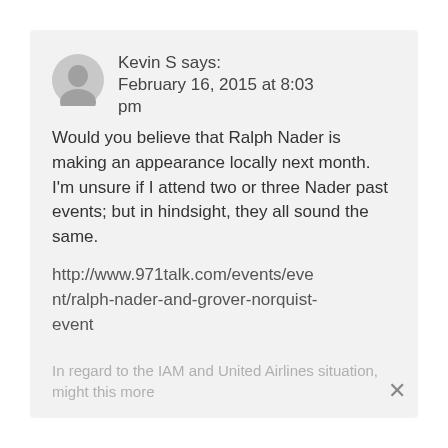Kevin S says: February 16, 2015 at 8:03 pm
Would you believe that Ralph Nader is making an appearance locally next month. I'm unsure if I attend two or three Nader past events; but in hindsight, they all sound the same.
http://www.971talk.com/events/event/ralph-nader-and-grover-norquist-event
In regard to the IAM and United Airlines situation, might this more